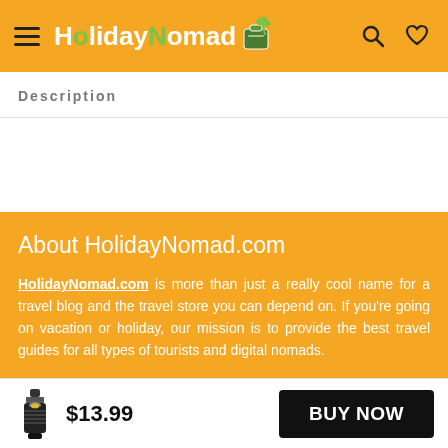HolidayNomad (logo and navigation header)
Description
About HolidayNomad.com
HolidayNomad.com is more than just a really cool name for a travel blog and the travel store you can depend on. If you're going on vacation or holiday, our mission is to provide the best travel guides for all types of tourists and digital nomads.
$13.99  BUY NOW